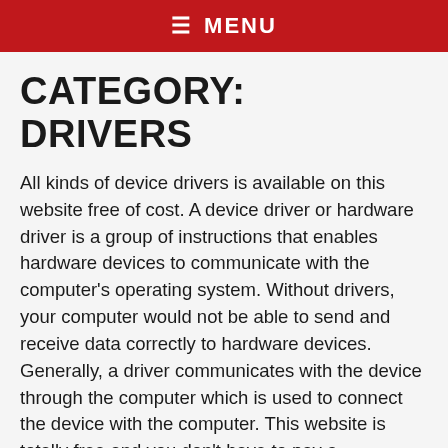≡ MENU
CATEGORY: DRIVERS
All kinds of device drivers is available on this website free of cost. A device driver or hardware driver is a group of instructions that enables hardware devices to communicate with the computer's operating system. Without drivers, your computer would not be able to send and receive data correctly to hardware devices. Generally, a driver communicates with the device through the computer which is used to connect the device with the computer. This website is totally free and you don't have to pay a subscription fee to install his products. This website is giving you complete access to all features of products completely free and providing you a product that will save your computer from any type of harmful attack. when you install the driver in the computer, an operating system loads the device drivers and calls the specific functions in the driver software in order to execute specific functions on the device. The computer software that acts as a go-between the operating system and